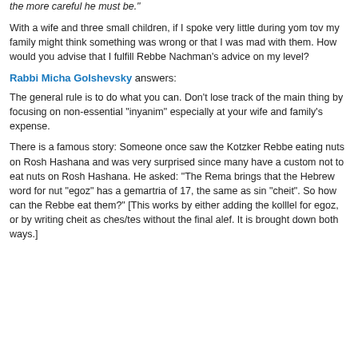the more careful he must be."
With a wife and three small children, if I spoke very little during yom tov my family might think something was wrong or that I was mad with them. How would you advise that I fulfill Rebbe Nachman's advice on my level?
Rabbi Micha Golshevsky answers:
The general rule is to do what you can. Don't lose track of the main thing by focusing on non-essential "inyanim" especially at your wife and family's expense.
There is a famous story: Someone once saw the Kotzker Rebbe eating nuts on Rosh Hashana and was very surprised since many have a custom not to eat nuts on Rosh Hashana. He asked: "The Rema brings that the Hebrew word for nut "egoz" has a gemartria of 17, the same as sin "cheit". So how can the Rebbe eat them?" [This works by either adding the kolllel for egoz, or by writing cheit as ches/tes without the final alef. It is brought down both ways.]